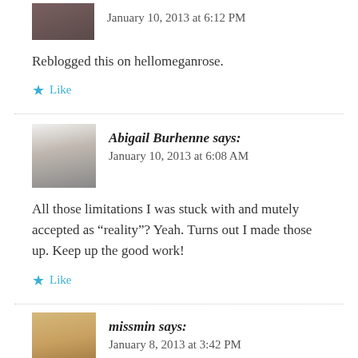January 10, 2013 at 6:12 PM
Reblogged this on hellomeganrose.
★ Like
Abigail Burhenne says:
January 10, 2013 at 6:08 AM
All those limitations I was stuck with and mutely accepted as “reality”? Yeah. Turns out I made those up. Keep up the good work!
★ Like
missmin says:
January 8, 2013 at 3:42 PM